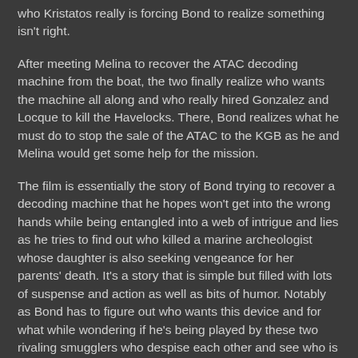who Kristatos really is forcing Bond to realize something isn't right.
After meeting Melina to recover the ATAC decoding machine from the boat, the two finally realize who wants the machine all along and who really hired Gonzalez and Locque to kill the Havelocks. There, Bond realizes what he must do to stop the sale of the ATAC to the KGB as he and Melina would get some help for the mission.
The film is essentially the story of Bond trying to recover a decoding machine that he hopes won't get into the wrong hands while being entangled into a web of intrigue and lies as he tries to find out who killed a marine archeologist whose daughter is also seeking vengeance for her parents' death. It's a story that is simple but filled with lots of suspense and action as well as bits of humor. Notably as Bond has to figure out who wants this device and for what while wondering if he's being played by these two rivaling smugglers who despise each other and see who is really telling the truth.
Helping Bond in this mission is Melina Havelock, a Bond girl